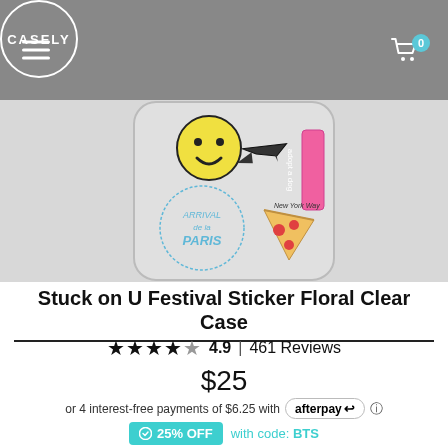CASELY
[Figure (photo): Phone case product image showing a clear case with travel stickers: smiley face, airplane, Paris arrival stamp, pizza slice, and 'adopt a dog' speech bubble sticker]
Stuck on U Festival Sticker Floral Clear Case
★★★★★ 4.9 | 461 Reviews
$25
or 4 interest-free payments of $6.25 with afterpay
25% OFF with code: BTS